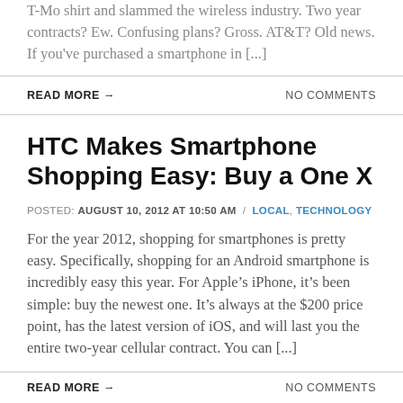T-Mo shirt and slammed the wireless industry. Two year contracts? Ew. Confusing plans? Gross. AT&T? Old news. If you've purchased a smartphone in [...]
READ MORE →                  NO COMMENTS
HTC Makes Smartphone Shopping Easy: Buy a One X
POSTED: AUGUST 10, 2012 AT 10:50 AM / LOCAL, TECHNOLOGY
For the year 2012, shopping for smartphones is pretty easy. Specifically, shopping for an Android smartphone is incredibly easy this year. For Apple's iPhone, it's been simple: buy the newest one. It's always at the $200 price point, has the latest version of iOS, and will last you the entire two-year cellular contract. You can [...]
READ MORE →                  NO COMMENTS